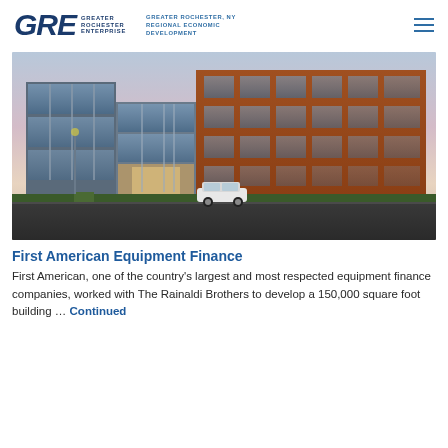GRE GREATER ROCHESTER ENTERPRISE | GREATER ROCHESTER, NY REGIONAL ECONOMIC DEVELOPMENT
[Figure (photo): Exterior photo of a modern multi-story office building with glass and brick facade, a white SUV parked in front, photographed at dusk with a colorful sky.]
First American Equipment Finance
First American, one of the country’s largest and most respected equipment finance companies, worked with The Rainaldi Brothers to develop a 150,000 square foot building … Continued